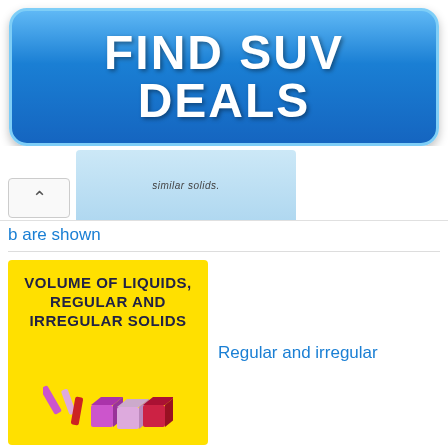[Figure (other): Blue rounded button advertisement reading FIND SUV DEALS in bold white text on a gradient blue background]
[Figure (other): Partial thumbnail of a document about similar solids, light blue background with text 'similar solids.']
b are shown
[Figure (illustration): Yellow background thumbnail image with bold text 'VOLUME OF LIQUIDS, REGULAR AND IRREGULAR SOLIDS' and illustrated colored cubes and cylinders]
Regular and irregular
solid
[Figure (illustration): Partial thumbnail showing stylized italic text 'Thermal application' in purple/magenta color]
Lattice vibrations